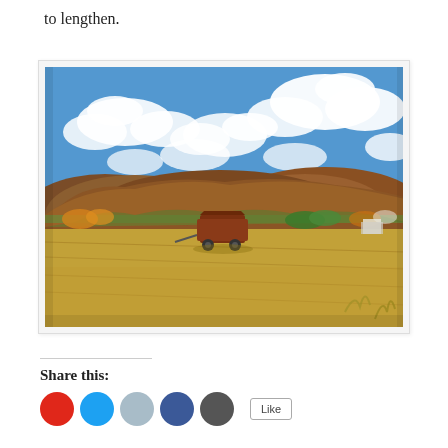to lengthen.
[Figure (photo): Autumn farm scene with a harvested cornfield in the foreground, a rust-colored grain cart/wagon in the mid-ground, rolling hills covered in fall foliage in the background, and a bright blue sky with puffy white clouds above.]
Share this:
[Social share buttons: Pinterest (red), Twitter (blue), Print (light gray), Facebook (blue), More (dark gray), and a Like button]